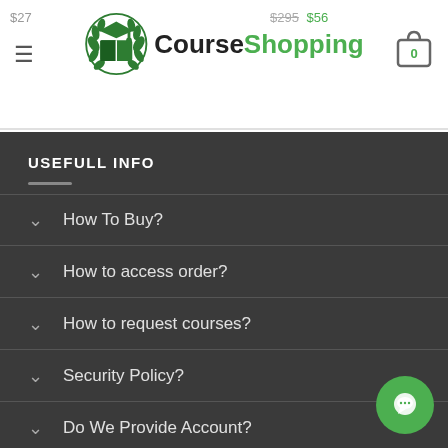$27  $295  $56
[Figure (logo): CourseShopping logo with graduation cap and open book emblem in green, text 'Course' in black and 'Shopping' in green]
USEFULL INFO
How To Buy?
How to access order?
How to request courses?
Security Policy?
Do We Provide Account?
Refund Policy